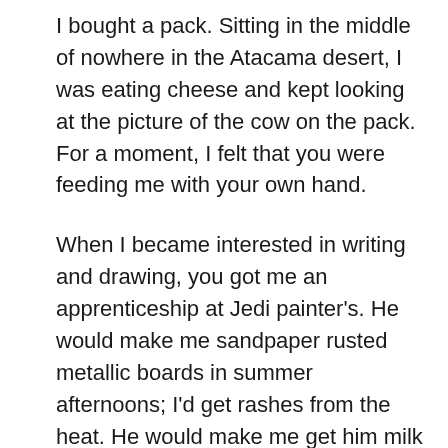I bought a pack. Sitting in the middle of nowhere in the Atacama desert, I was eating cheese and kept looking at the picture of the cow on the pack. For a moment, I felt that you were feeding me with your own hand.

When I became interested in writing and drawing, you got me an apprenticeship at Jedi painter's. He would make me sandpaper rusted metallic boards in summer afternoons; I'd get rashes from the heat. He would make me get him milk n soda for him too. When I complained to you, you said; “to learn a skill, one must serve the teacher”. And later, I would earn by making many banners and boards with